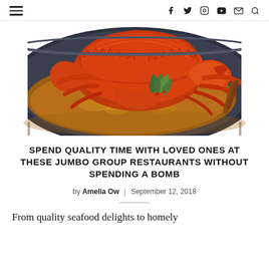≡  f  𝕏  🔲  ▶  ✉  🔍
[Figure (photo): A large crab cooked in spicy chilli sauce served in a dark oval pan, garnished with green onion shreds, placed on a wooden surface]
SPEND QUALITY TIME WITH LOVED ONES AT THESE JUMBO GROUP RESTAURANTS WITHOUT SPENDING A BOMB
by Amelia Ow  |  September 12, 2018
From quality seafood delights to homely